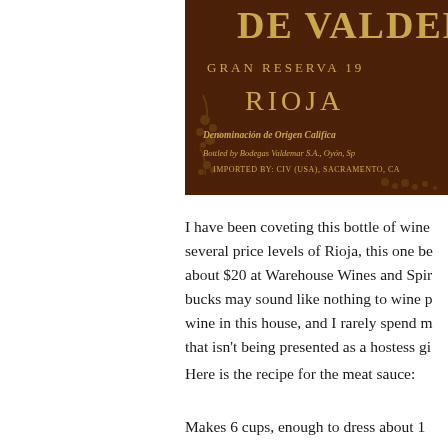[Figure (photo): Close-up photo of a wine bottle label for Valdemar Gran Reserva 199x, Rioja. Label text includes: GRAN RESERVA 19[9x], RIOJA, Denominación de Origen Califica[da], Bottled by Bodegas Valdemar S.A., Oyón, Sp[ain], IMPORTED BY: CIV (USA), SACRAMENTO, CA. Gold text on dark brown background with grape vine decorations.]
I have been coveting this bottle of wine several price levels of Rioja, this one be about $20 at Warehouse Wines and Spir bucks may sound like nothing to wine p wine in this house, and I rarely spend m that isn't being presented as a hostess gi
Here is the recipe for the meat sauce:
Makes 6 cups, enough to dress about 1